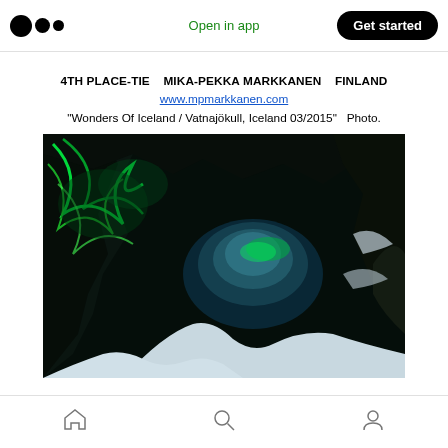Open in app  Get started
4TH PLACE-TIE   MIKA-PEKKA MARKKANEN   FINLAND
www.mpmarkkanen.com
"Wonders Of Iceland / Vatnajökull, Iceland 03/2015"   Photo.
[Figure (photo): A dramatic cave interior at night showing aurora borealis (northern lights) visible through the cave opening. The cave has dark rocky walls with snow and ice formations. Green aurora lights are visible swirling through the cave and in the sky beyond the cave mouth.]
Home  Search  Profile navigation icons